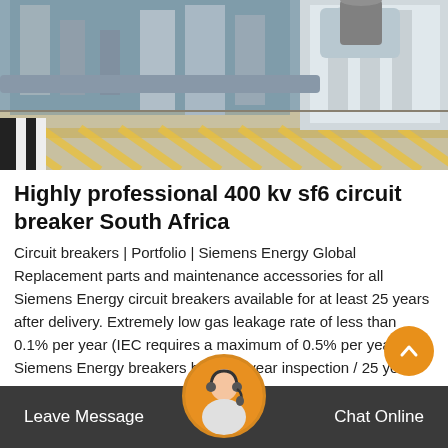[Figure (photo): Industrial electrical substation equipment, likely SF6 circuit breakers with large cylindrical components, metal structures, and yellow safety markings on the floor.]
Highly professional 400 kv sf6 circuit breaker South Africa
Circuit breakers | Portfolio | Siemens Energy Global Replacement parts and maintenance accessories for all Siemens Energy circuit breakers available for at least 25 years after delivery. Extremely low gas leakage rate of less than 0.1% per year (IEC requires a maximum of 0.5% per year) All Siemens Energy breakers have 12 year inspection / 25 year maintenance cycle, minimizing your total cost of
Leave Message   Chat Online